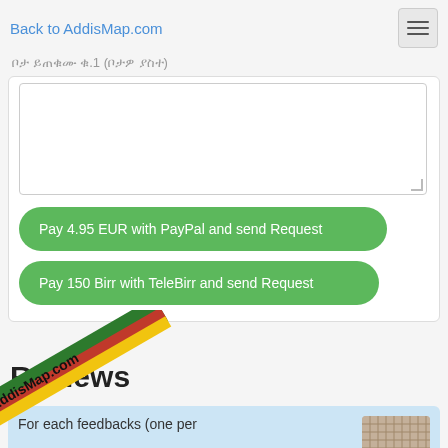Back to AddisMap.com
ቦታ ይጠቁሙ ቁ.1 (ቦታዎ ያስተ)
[Figure (screenshot): Text area input field (empty, white background with resize handle)]
Pay 4.95 EUR with PayPal and send Request
Pay 150 Birr with TeleBirr and send Request
Reviews
For each feedbacks (one per
[Figure (photo): Woven/mesh texture photo thumbnail on right side of reviews card]
[Figure (logo): AddisMap.com diagonal logo watermark with green, red, yellow stripes]